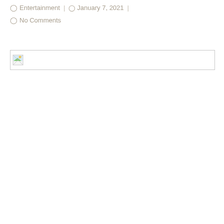Entertainment | January 7, 2021 |
No Comments
[Figure (photo): Broken/missing image placeholder with small landscape icon, shown as a bordered rectangle with a broken image icon in the top-left corner.]